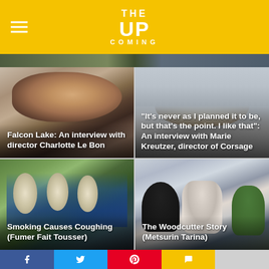THE UPCOMING
[Figure (photo): Thin horizontal strip showing partial image from hero/banner area]
[Figure (photo): Close-up portrait of a young woman with brown hair - article thumbnail for Falcon Lake interview with director Charlotte Le Bon]
Falcon Lake: An interview with director Charlotte Le Bon
[Figure (photo): Woman with dark curly hair sitting on stone steps - article thumbnail for Marie Kreutzer interview about Corsage]
“It’s never as I planned it to be, but that’s the point. I like that”: An interview with Marie Kreutzer, director of Corsage
[Figure (photo): Costumed superhero-like figures in blue and gold suits outdoors - Smoking Causes Coughing (Fumer Fait Tousser)]
Smoking Causes Coughing (Fumer Fait Tousser)
[Figure (photo): Three people in winter clothing in a snowy outdoor setting - The Woodcutter Story (Metsurin Tarina)]
The Woodcutter Story (Metsurin Tarina)